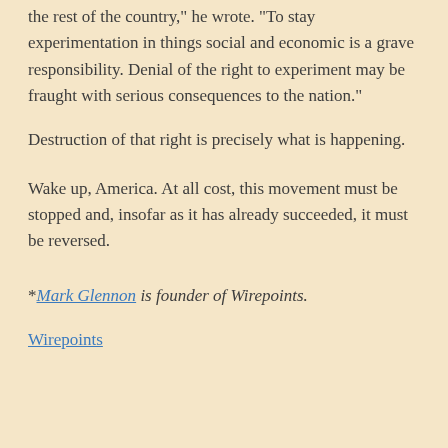the rest of the country," he wrote. "To stay experimentation in things social and economic is a grave responsibility. Denial of the right to experiment may be fraught with serious consequences to the nation."
Destruction of that right is precisely what is happening.
Wake up, America. At all cost, this movement must be stopped and, insofar as it has already succeeded, it must be reversed.
*Mark Glennon is founder of Wirepoints.
Wirepoints